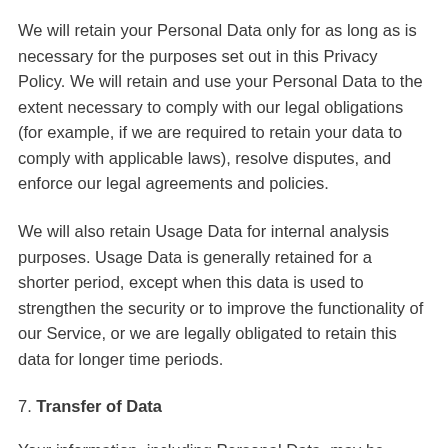We will retain your Personal Data only for as long as is necessary for the purposes set out in this Privacy Policy. We will retain and use your Personal Data to the extent necessary to comply with our legal obligations (for example, if we are required to retain your data to comply with applicable laws), resolve disputes, and enforce our legal agreements and policies.
We will also retain Usage Data for internal analysis purposes. Usage Data is generally retained for a shorter period, except when this data is used to strengthen the security or to improve the functionality of our Service, or we are legally obligated to retain this data for longer time periods.
7. Transfer of Data
Your information, including Personal Data, may be transferred to – and maintained on – computers located outside of your state, province, country or other governmental jurisdiction where the data